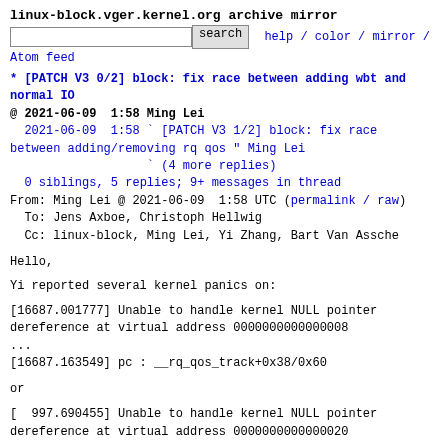linux-block.vger.kernel.org archive mirror
search  help / color / mirror / Atom feed
* [PATCH V3 0/2] block: fix race between adding wbt and normal IO
@ 2021-06-09  1:58 Ming Lei
  2021-06-09  1:58 ` [PATCH V3 1/2] block: fix race between adding/removing rq qos " Ming Lei
                   ` (4 more replies)
  0 siblings, 5 replies; 9+ messages in thread
From: Ming Lei @ 2021-06-09  1:58 UTC (permalink / raw)
  To: Jens Axboe, Christoph Hellwig
  Cc: linux-block, Ming Lei, Yi Zhang, Bart Van Assche
Hello,
Yi reported several kernel panics on:
[16687.001777] Unable to handle kernel NULL pointer dereference at virtual address 0000000000000008
...
[16687.163549] pc : __rq_qos_track+0x38/0x60
or
[  997.690455] Unable to handle kernel NULL pointer dereference at virtual address 0000000000000020
...